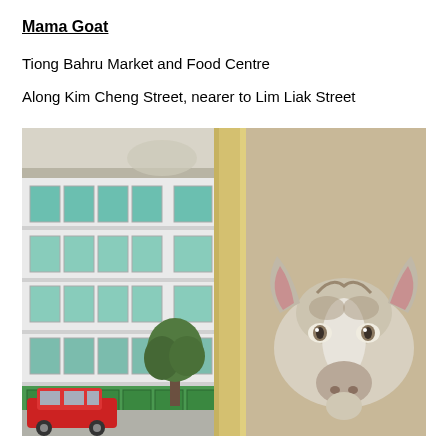Mama Goat
Tiong Bahru Market and Food Centre
Along Kim Cheng Street, nearer to Lim Liak Street
[Figure (photo): Photograph showing a street scene in Tiong Bahru, Singapore. On the left side is a multi-storey HDB-style building with green window frames and a red car parked at street level. A green tree is visible in front of the building. On the right side is a beige/tan wall with a painted mural of a goat's head (Mama Goat), showing the goat facing forward with large ears. A yellow pillar separates the two halves of the image. In the background, a taller residential building is visible.]